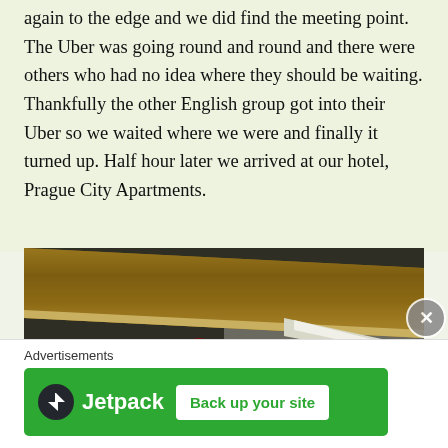again to the edge and we did find the meeting point. The Uber was going round and round and there were others who had no idea where they should be waiting. Thankfully the other English group got into their Uber so we waited where we were and finally it turned up. Half hour later we arrived at our hotel, Prague City Apartments.
[Figure (photo): Interior hotel room photo showing a wooden beam or shelf from a low angle, with a red and black item hanging beneath it, and recessed ceiling lights visible in the background against grey walls.]
Advertisements
[Figure (other): Jetpack advertisement banner with green background showing Jetpack logo and 'Back up your site' button]